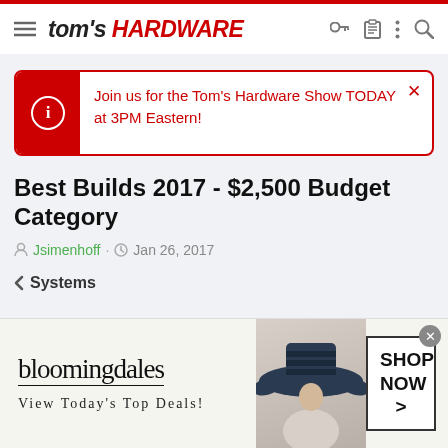tom's HARDWARE
Join us for the Tom's Hardware Show TODAY at 3PM Eastern!
Best Builds 2017 - $2,500 Budget Category
Jsimenhoff · Jan 26, 2017
< Systems
[Figure (screenshot): Bloomingdale's advertisement banner with woman in hat, text: bloomingdales, View Today's Top Deals!, SHOP NOW >]